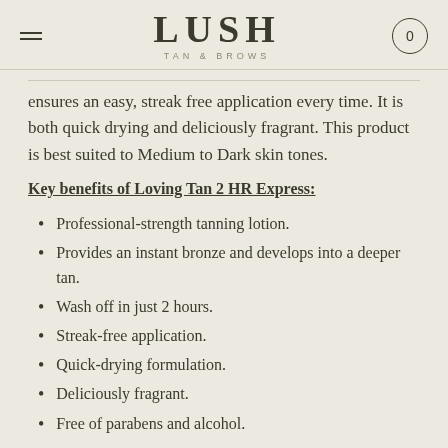LUSH TAN & BROWS
ensures an easy, streak free application every time. It is both quick drying and deliciously fragrant. This product is best suited to Medium to Dark skin tones.
Key benefits of Loving Tan 2 HR Express:
Professional-strength tanning lotion.
Provides an instant bronze and develops into a deeper tan.
Wash off in just 2 hours.
Streak-free application.
Quick-drying formulation.
Deliciously fragrant.
Free of parabens and alcohol.